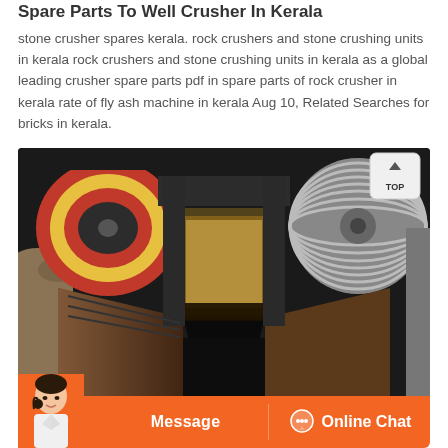Spare Parts To Well Crusher In Kerala
stone crusher spares kerala. rock crushers and stone crushing units in kerala rock crushers and stone crushing units in kerala as a global leading crusher spare parts pdf in spare parts of rock crusher in kerala rate of fly ash machine in kerala Aug 10, Related Searches for bricks in kerala.
[Figure (photo): Close-up photograph of a stone jaw crusher showing the crushing chamber with large metal jaws, pulleys/flywheels on either side, and the crushing gap visible from above. Industrial mining equipment.]
Message    Online Chat